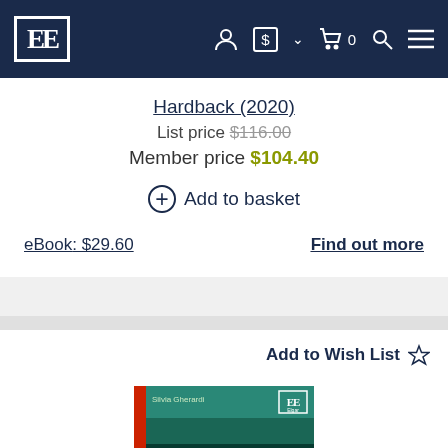EE [Edward Elgar Publishing] navigation bar
Hardback (2020)
List price $116.00
Member price $104.40
+ Add to basket
eBook: $29.60    Find out more
Add to Wish List ☆
[Figure (photo): Book cover for 'How to Conduct a Practice-Based Study: Problems and Methods, Second Edition' by Silvia Gherardi, published by Edward Elgar. Cover features teal/green design with red spine.]